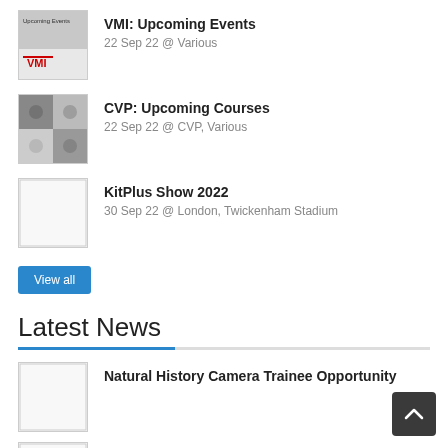[Figure (photo): VMI upcoming events thumbnail with text 'Upcoming Events' and VMI logo]
VMI: Upcoming Events
22 Sep 22 @ Various
[Figure (photo): CVP upcoming courses thumbnail showing people at training]
CVP: Upcoming Courses
22 Sep 22 @ CVP, Various
[Figure (photo): KitPlus Show 2022 thumbnail (blank/white)]
KitPlus Show 2022
30 Sep 22 @ London, Twickenham Stadium
View all
Latest News
[Figure (photo): Natural History Camera Trainee Opportunity thumbnail (blank/white)]
Natural History Camera Trainee Opportunity
[Figure (photo): GTC 50th Anniversary Celebrations and Awards thumbnail (blank/white)]
GTC 50th Anniversary Celebrations and Awards